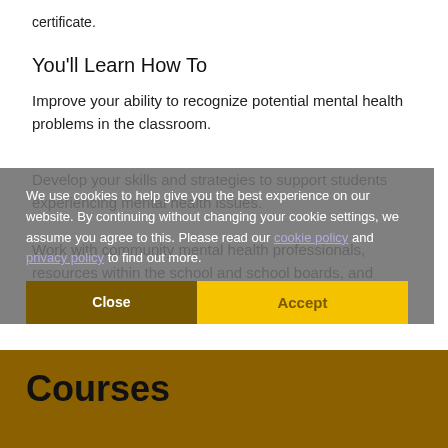certificate.
You'll Learn How To
Improve your ability to recognize potential mental health problems in the classroom.
Develop your skills and strategies to support students experiencing mental health issues.
Work with community mental health professionals, resources within the school and school boards, and communicate with community resources when asked.
We use cookies to help give you the best experience on our website. By continuing without changing your cookie settings, we assume you agree to this. Please read our cookie policy and privacy policy to find out more.
Courses